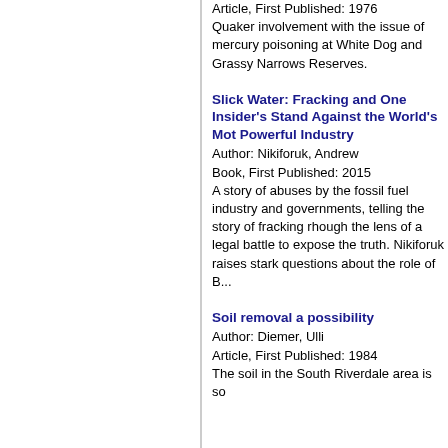Article, First Published: 1976
Quaker involvement with the issue of mercury poisoning at White Dog and Grassy Narrows Reserves.
Slick Water: Fracking and One Insider's Stand Against the World's Mot Powerful Industry
Author: Nikiforuk, Andrew
Book, First Published: 2015
A story of abuses by the fossil fuel industry and governments, telling the story of fracking rhough the lens of a legal battle to expose the truth. Nikiforuk raises stark questions about the role of B...
Soil removal a possibility
Author: Diemer, Ulli
Article, First Published: 1984
The soil in the South Riverdale area is so